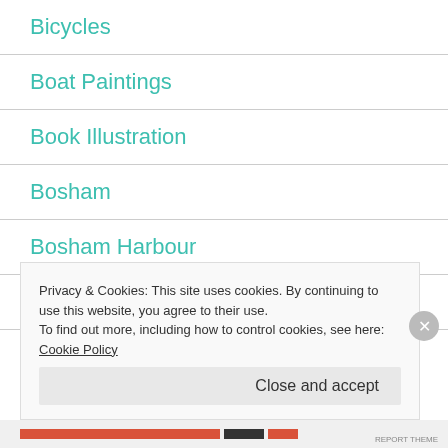Bicycles
Boat Paintings
Book Illustration
Bosham
Bosham Harbour
Bosphorus
Privacy & Cookies: This site uses cookies. By continuing to use this website, you agree to their use.
To find out more, including how to control cookies, see here: Cookie Policy
Close and accept